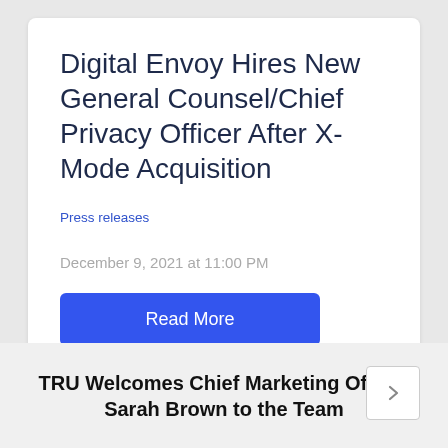Digital Envoy Hires New General Counsel/Chief Privacy Officer After X-Mode Acquisition
Press releases
December 9, 2021 at 11:00 PM
Read More
TRU Welcomes Chief Marketing Officer Sarah Brown to the Team